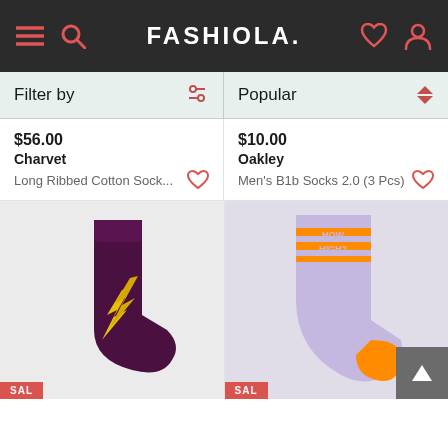FASHIOLA.
Filter by | Popular
$56.00
Charvet
Long Ribbed Cotton Sock...
$10.00
Oakley
Men's B1b Socks 2.0 (3 Pcs)
[Figure (photo): Dark purple sock with yellow flame/lightning bolt pattern on a light grey background. SAL badge at bottom left.]
[Figure (photo): Lavender/light purple sport sock with orange stripes and orange heel, text 'HOW HIGH?' on the cuff area. SALE badge at bottom left.]